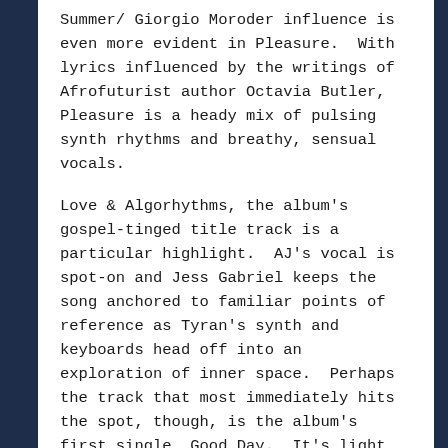Summer/ Giorgio Moroder influence is even more evident in Pleasure.  With lyrics influenced by the writings of Afrofuturist author Octavia Butler, Pleasure is a heady mix of pulsing synth rhythms and breathy, sensual vocals.
Love & Algorhythms, the album's gospel-tinged title track is a particular highlight.  AJ's vocal is spot-on and Jess Gabriel keeps the song anchored to familiar points of reference as Tyran's synth and keyboards head off into an exploration of inner space.  Perhaps the track that most immediately hits the spot, though, is the album's first single, Good Day.  It's light and joyful, with soaring vocals from AJ, a superb bouncy bassline and it's full of celestial keyboard flourishes.  After a soulful, almost hymnal, middle section, the bouncy joy returns to leave the listener breathless.